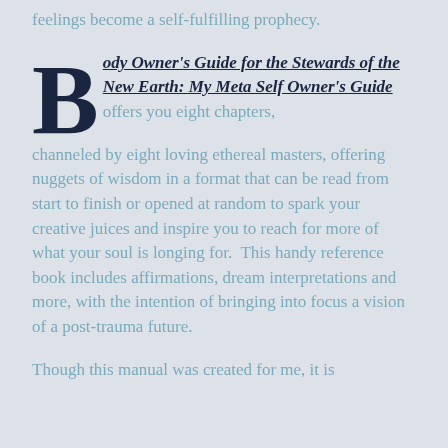feelings become a self-fulfilling prophecy.
Body Owner's Guide for the Stewards of the New Earth: My Meta Self Owner's Guide offers you eight chapters, channeled by eight loving ethereal masters, offering nuggets of wisdom in a format that can be read from start to finish or opened at random to spark your creative juices and inspire you to reach for more of what your soul is longing for. This handy reference book includes affirmations, dream interpretations and more, with the intention of bringing into focus a vision of a post-trauma future.
Though this manual was created for me, it is